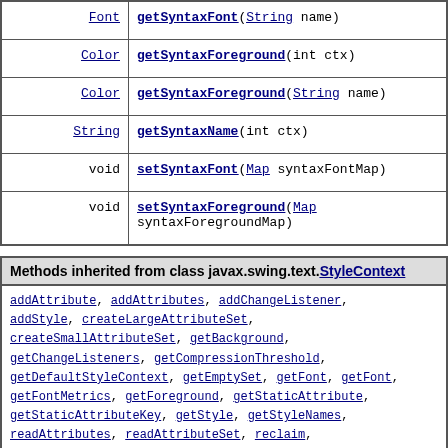| Type | Method |
| --- | --- |
| Font | getSyntaxFont(String name) |
| Color | getSyntaxForeground(int ctx) |
| Color | getSyntaxForeground(String name) |
| String | getSyntaxName(int ctx) |
| void | setSyntaxFont(Map syntaxFontMap) |
| void | setSyntaxForeground(Map syntaxForegroundMap) |
Methods inherited from class javax.swing.text.StyleContext
addAttribute, addAttributes, addChangeListener, addStyle, createLargeAttributeSet, createSmallAttributeSet, getBackground, getChangeListeners, getCompressionThreshold, getDefaultStyleContext, getEmptySet, getFont, getFont, getFontMetrics, getForeground, getStaticAttribute, getStaticAttributeKey, getStyle, getStyleNames, readAttributes, readAttributeSet, reclaim, registerStaticAttributeKey, removeAttribute, removeAttributes, removeAttributes,